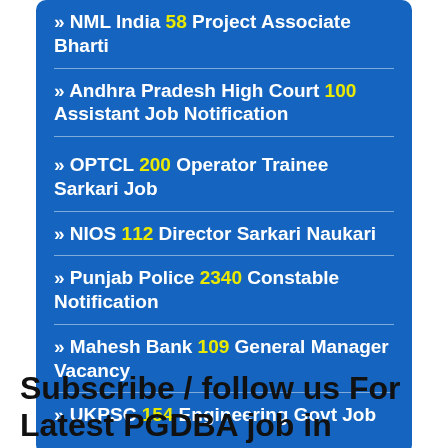» NML India 58 Project Associate Bharti
» Andhra Pradesh High Court 100 Assistant Job Notification
» OPTCL 200 Operator Trainee Sarkari Job
» NIOS 112 Director Sarkari Naukari
» Punjab Police 2340 Constable Notification
» Mahesh Bank 109 General Manager Vacancy
» UKPSC 154 Engineering Govt Job
Subscribe / follow us For Latest PGDBA job in